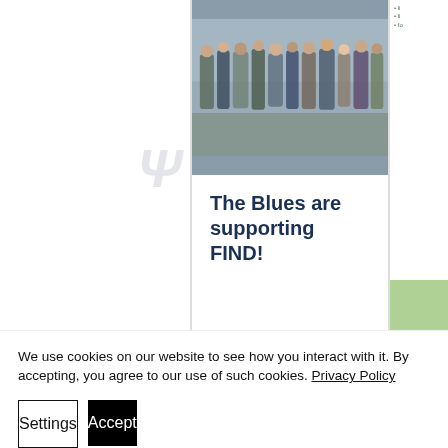[Figure (photo): Group of people standing outdoors, photo used in a card carousel]
The Blues are supporting FIND!
[Figure (infographic): Carousel dot indicators: one active dark dot and two inactive grey dots]
We use cookies on our website to see how you interact with it. By accepting, you agree to our use of such cookies. Privacy Policy
Settings
Accept